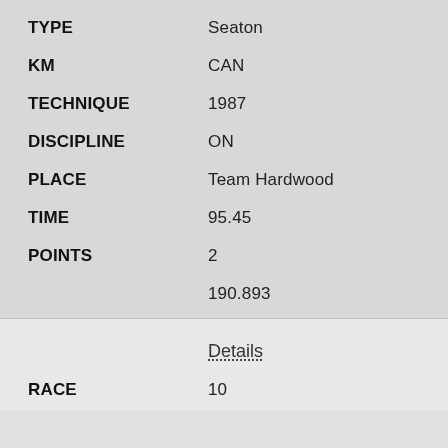TYPE: Seaton
KM: CAN
TECHNIQUE: 1987
DISCIPLINE: ON
PLACE: Team Hardwood
TIME: 95.45
POINTS: 2
190.893
Details
RACE: 10